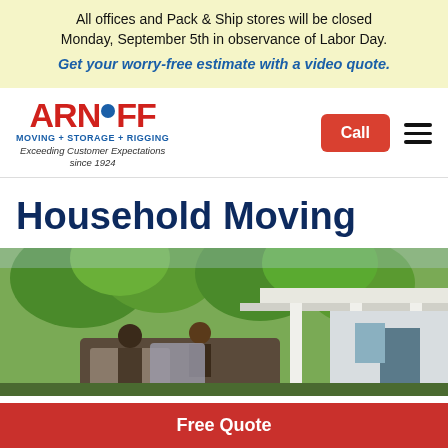All offices and Pack & Ship stores will be closed Monday, September 5th in observance of Labor Day. Get your worry-free estimate with a video quote.
[Figure (logo): Arnoff Moving + Storage + Rigging logo with red ARNOFF text, blue dot in letter O, blue tagline text, and italic tagline 'Exceeding Customer Expectations since 1924']
Household Moving
[Figure (photo): Photo of movers carrying wrapped furniture in front of a house with white columns and green trees in the background]
Free Quote